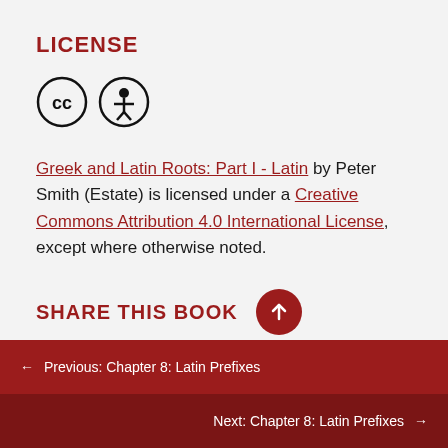LICENSE
[Figure (illustration): Creative Commons CC and Attribution (BY) icons — two circular icons side by side]
Greek and Latin Roots: Part I - Latin by Peter Smith (Estate) is licensed under a Creative Commons Attribution 4.0 International License, except where otherwise noted.
SHARE THIS BOOK
← Previous: Chapter 8: Latin Prefixes
Next: Chapter 8: Latin Prefixes →